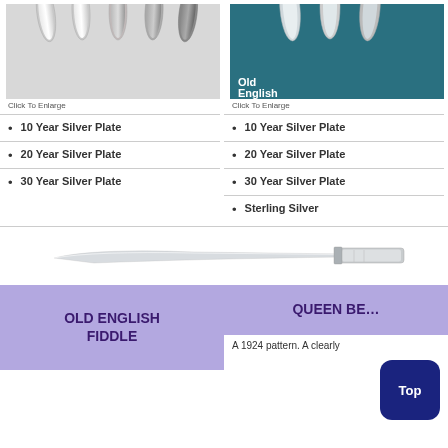[Figure (photo): Multiple silver-tone cutlery handles fanned out against white/grey background]
Click To Enlarge
[Figure (photo): Silver cutlery handles on teal/blue background labeled 'Old English']
Click To Enlarge
10 Year Silver Plate
20 Year Silver Plate
30 Year Silver Plate
10 Year Silver Plate
20 Year Silver Plate
30 Year Silver Plate
Sterling Silver
[Figure (photo): A silver steak knife with plain handle, shown horizontally]
OLD ENGLISH FIDDLE
QUEEN BE...
A 1924 pattern. A clearly